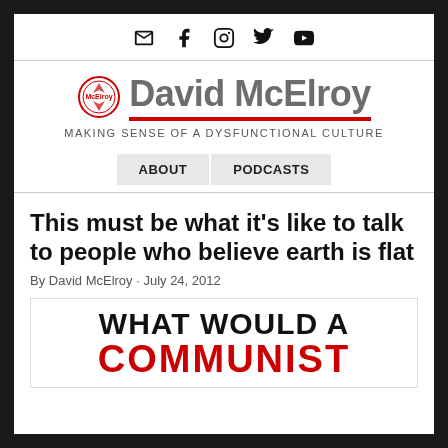Social icons: email, facebook, instagram, twitter, youtube
David McElroy
MAKING SENSE OF A DYSFUNCTIONAL CULTURE
ABOUT   PODCASTS
This must be what it's like to talk to people who believe earth is flat
By David McElroy · July 24, 2012
[Figure (illustration): Image with large bold text reading WHAT WOULD A COMMUNIST in black and red]